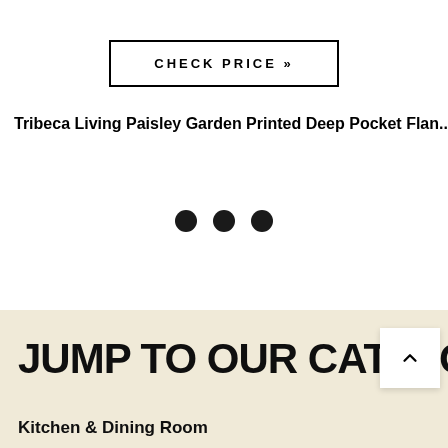CHECK PRICE »
Tribeca Living Paisley Garden Printed Deep Pocket Flan...
[Figure (other): Three horizontal dots indicating a loading or pagination indicator]
JUMP TO OUR CATALO
Kitchen & Dining Room